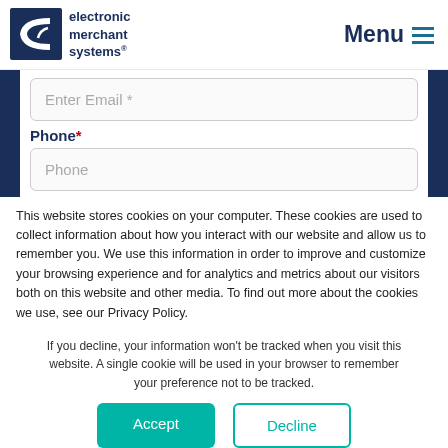[Figure (logo): Electronic Merchant Systems logo with stylized blue C shape and company name]
Menu ≡
Enter Email *
Phone*
Phone
This website stores cookies on your computer. These cookies are used to collect information about how you interact with our website and allow us to remember you. We use this information in order to improve and customize your browsing experience and for analytics and metrics about our visitors both on this website and other media. To find out more about the cookies we use, see our Privacy Policy.
If you decline, your information won't be tracked when you visit this website. A single cookie will be used in your browser to remember your preference not to be tracked.
Accept
Decline